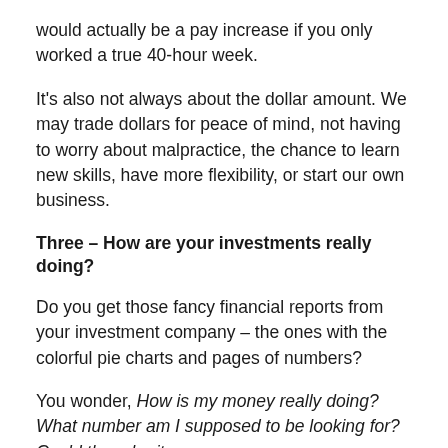would actually be a pay increase if you only worked a true 40-hour week.
It's also not always about the dollar amount. We may trade dollars for peace of mind, not having to worry about malpractice, the chance to learn new skills, have more flexibility, or start our own business.
Three – How are your investments really doing?
Do you get those fancy financial reports from your investment company – the ones with the colorful pie charts and pages of numbers?
You wonder, How is my money really doing? What number am I supposed to be looking for? Could there be it...